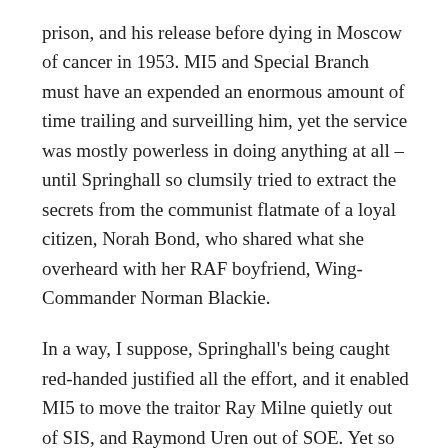prison, and his release before dying in Moscow of cancer in 1953. MI5 and Special Branch must have an expended an enormous amount of time trailing and surveilling him, yet the service was mostly powerless in doing anything at all – until Springhall so clumsily tried to extract the secrets from the communist flatmate of a loyal citizen, Norah Bond, who shared what she overheard with her RAF boyfriend, Wing-Commander Norman Blackie.
In a way, I suppose, Springhall's being caught red-handed justified all the effort, and it enabled MI5 to move the traitor Ray Milne quietly out of SIS, and Raymond Uren out of SOE. Yet so much other surveillance was going on that one has to conclude that it was all rather wasted energy. 'Keeping an eye' on suspicious characters became a literal watchword, in the